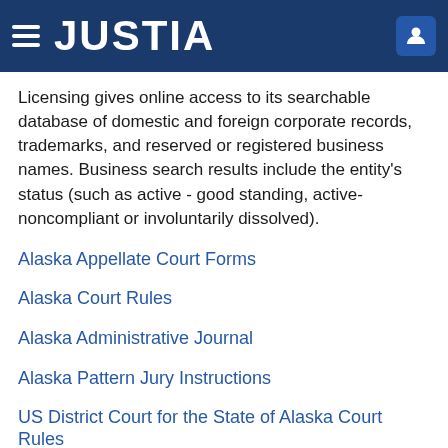JUSTIA
Licensing gives online access to its searchable database of domestic and foreign corporate records, trademarks, and reserved or registered business names. Business search results include the entity's status (such as active - good standing, active- noncompliant or involuntarily dissolved).
Alaska Appellate Court Forms
Alaska Court Rules
Alaska Administrative Journal
Alaska Pattern Jury Instructions
US District Court for the State of Alaska Court Rules
Alaska State Bar Rules